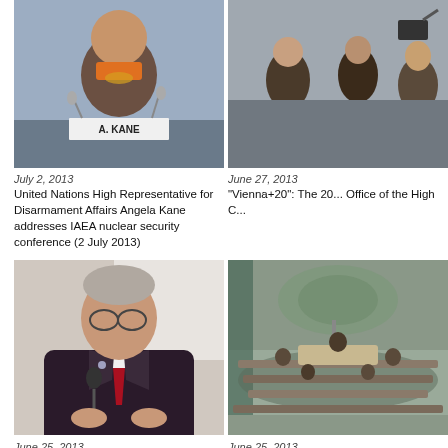[Figure (photo): Woman in orange scarf at conference table with nameplate reading A. KANE]
[Figure (photo): Group of people in a meeting room, partially visible]
July 2, 2013
United Nations High Representative for Disarmament Affairs Angela Kane addresses IAEA nuclear security conference (2 July 2013)
June 27, 2013
"Vienna+20": The 20... Office of the High C...
[Figure (photo): Older man in dark suit with red tie speaking at microphone]
[Figure (photo): Large assembly hall with curved seating, appears to be UN Security Council chamber]
June 25, 2013
June 25, 2013